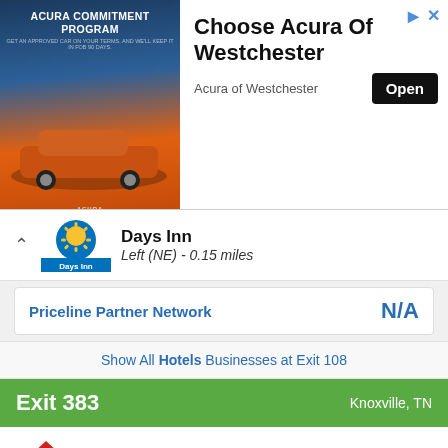[Figure (screenshot): Acura advertisement banner with car image, text 'ACURA COMMITMENT PROGRAM', 'Choose Acura Of Westchester', 'Acura of Westchester', and an 'Open' button]
Days Inn
Left (NE) - 0.15 miles
| Priceline Partner Network | N/A |
| --- | --- |
Show All Hotels Businesses at Exit 108
Exit 383    Knoxville, TN
Red Roof Inn
Right (N) - 0.17 miles
| Priceline Partner Network | $68 |
| --- | --- |
| 19 Rooms Left |  |